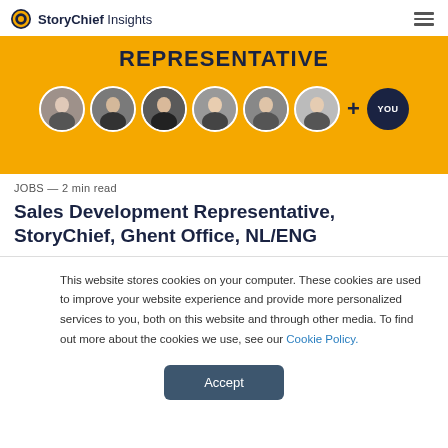StoryChief Insights
[Figure (illustration): Yellow banner with bold text REPRESENTATIVE and a row of six circular avatar photos of people plus a plus sign and a dark circle with YOU text]
JOBS — 2 min read
Sales Development Representative, StoryChief, Ghent Office, NL/ENG
This website stores cookies on your computer. These cookies are used to improve your website experience and provide more personalized services to you, both on this website and through other media. To find out more about the cookies we use, see our Cookie Policy.
Accept